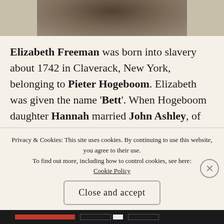[Figure (photo): Partial view of a historical black-and-white photograph of a person, cropped at the top of the page]
Elizabeth Freeman was born into slavery about 1742 in Claverack, New York, belonging to Pieter Hogeboom. Elizabeth was given the name 'Bett'. When Hogeboom daughter Hannah married John Ashley, of Sheffield, Massachusetts, who at the time served as a judge of the Berkshire Court of common pleas, Hogeboom gifted six month old B... T...
Privacy & Cookies: This site uses cookies. By continuing to use this website, you agree to their use.
To find out more, including how to control cookies, see here: Cookie Policy
Close and accept